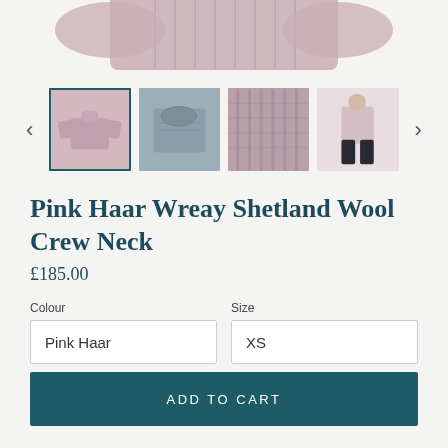[Figure (photo): Product image thumbnails of a pink Shetland wool crew neck sweater, showing: full sweater flat lay, collar close-up, texture detail, and person wearing it. Navigation arrows on left and right.]
Pink Haar Wreay Shetland Wool Crew Neck
£185.00
Colour
Pink Haar
Size
XS
ADD TO CART